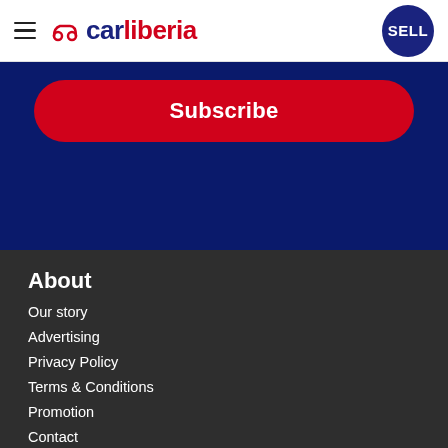carliberia — SELL
Subscribe
About
Our story
Advertising
Privacy Policy
Terms & Conditions
Promotion
Contact
Search
Cars